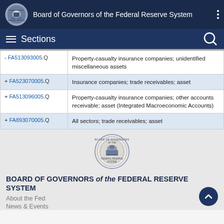Board of Governors of the Federal Reserve System
Sections
| Code | Description |
| --- | --- |
| - FA513093005.Q | Property-casualty insurance companies; unidentified miscellaneous assets |
| + FA523070005.Q | Insurance companies; trade receivables; asset |
| + FA513096005.Q | Property-casualty insurance companies; other accounts receivable; asset (Integrated Macroeconomic Accounts) |
| + FA893070005.Q | All sectors; trade receivables; asset |
[Figure (logo): Federal Reserve System seal/logo]
BOARD OF GOVERNORS of the FEDERAL RESERVE SYSTEM
About the Fed
News & Events